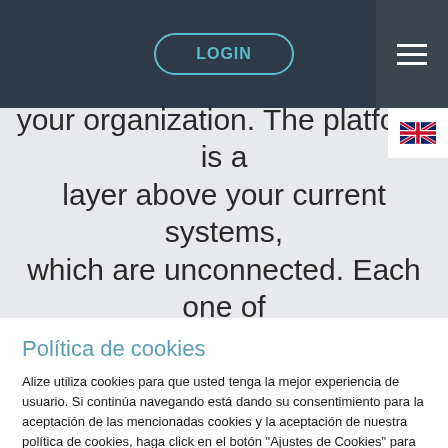[Figure (screenshot): Navigation bar with LOGIN button in teal outline rounded rectangle, hamburger menu icon on right, on dark navy background]
geographical areas get shared within your organization. The platform is a layer above your current systems, which are unconnected. Each one of them will connect independently to our
Política de cookies
Alize utiliza cookies para que usted tenga la mejor experiencia de usuario. Si continúa navegando está dando su consentimiento para la aceptación de las mencionadas cookies y la aceptación de nuestra política de cookies, haga click en el botón "Ajustes de Cookies" para mayor información.
Ajustes de Cookies | Aceptar todo